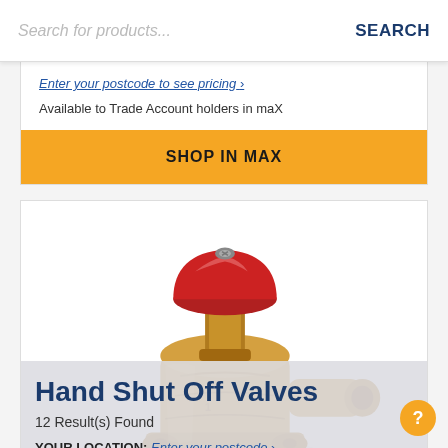Search for products... SEARCH
Enter your postcode to see pricing
Available to Trade Account holders in maX
SHOP IN MAX
[Figure (photo): Brass hand shut off valve with red top cap, showing pipe connection fitting. Product displayed on white background within a product listing card.]
Wishlist
Hand Shut Off Valves
12 Result(s) Found
YOUR LOCATION: Enter your postcode >